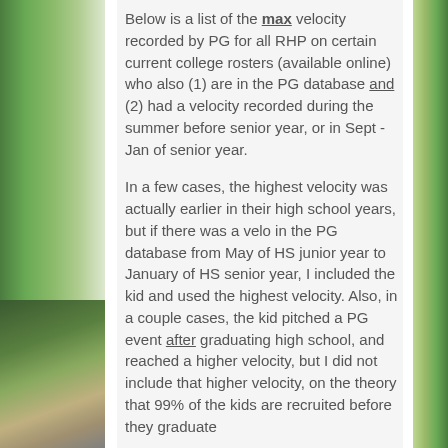Below is a list of the max velocity recorded by PG for all RHP on certain current college rosters (available online) who also (1) are in the PG database and (2) had a velocity recorded during the summer before senior year, or in Sept - Jan of senior year.
In a few cases, the highest velocity was actually earlier in their high school years, but if there was a velo in the PG database from May of HS junior year to January of HS senior year, I included the kid and used the highest velocity. Also, in a couple cases, the kid pitched a PG event after graduating high school, and reached a higher velocity, but I did not include that higher velocity, on the theory that 99% of the kids are recruited before they graduate